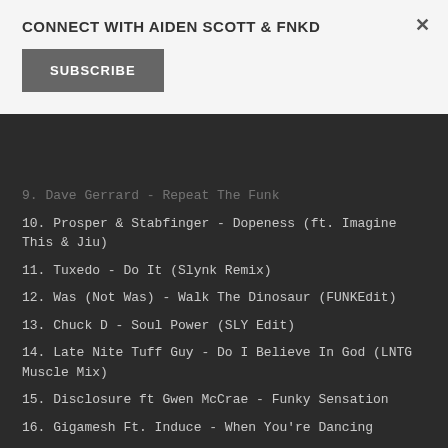CONNECT WITH AIDEN SCOTT & FNKD
SUBSCRIBE
9. Dave Gerrard - Repeat The Funk
10. Prosper & Stabfinger - Dopeness (ft. Imagine This & Jiu)
11. Tuxedo - Do It (Slynk Remix)
12. Was (Not Was) - Walk The Dinosaur (FUNKEdit)
13. Chuck D - Soul Power (SLY Edit)
14. Late Nite Tuff Guy - Do I Believe In God (LNTG Muscle Mix)
15. Disclosure ft Gwen McCrae - Funky Sensation
16. Gigamesh Ft. Induce - When You're Dancing
17. Kaytranada - Lite Spots
18. The Allergies - Dance Now